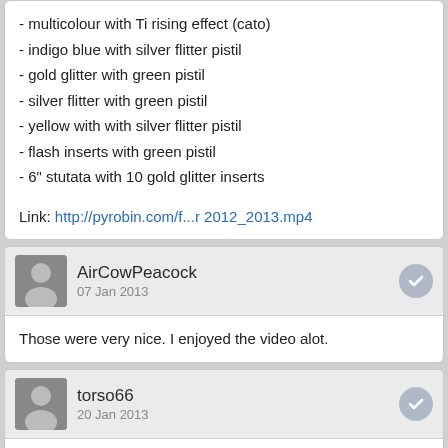- multicolour with Ti rising effect (cato)
- indigo blue with silver flitter pistil
- gold glitter with green pistil
- silver flitter with green pistil
- yellow with with silver flitter pistil
- flash inserts with green pistil
- 6" stutata with 10 gold glitter inserts
Link: http://pyrobin.com/f...r 2012_2013.mp4
AirCowPeacock
07 Jan 2013
Those were very nice. I enjoyed the video alot.
torso66
20 Jan 2013
Great job . It has given me a few new ideas to try .
Pyroboy
04 Jan 2022